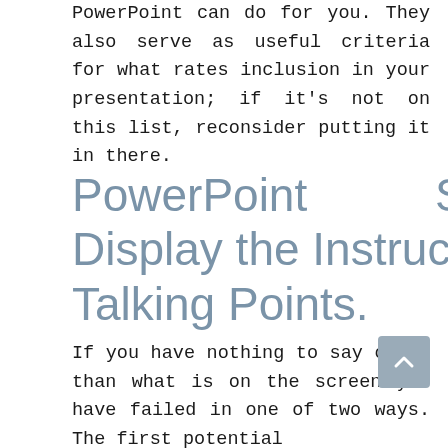PowerPoint can do for you. They also serve as useful criteria for what rates inclusion in your presentation; if it's not on this list, reconsider putting it in there.
PowerPoint Should: Display the Instructor's Talking Points.
If you have nothing to say other than what is on the screen you have failed in one of two ways. The first potential